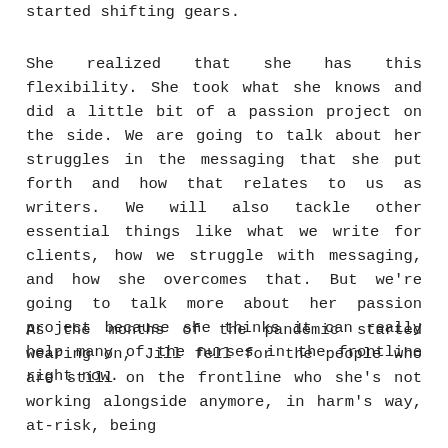started shifting gears.
She realized that she has this flexibility. She took what she knows and did a little bit of a passion project on the side. We are going to talk about her struggles in the messaging that she put forth and how that relates to us as writers. We will also tackle other essential things like what we write for clients, how we struggle with messaging, and how she overcomes that. But we're going to talk more about her passion project because she thinks it can really help many of the nurses in the frontline right now.
As the months of the pandemic started wearing on, Jill fell for the people who are still on the frontline who she's not working alongside anymore, in harm's way, at-risk, being